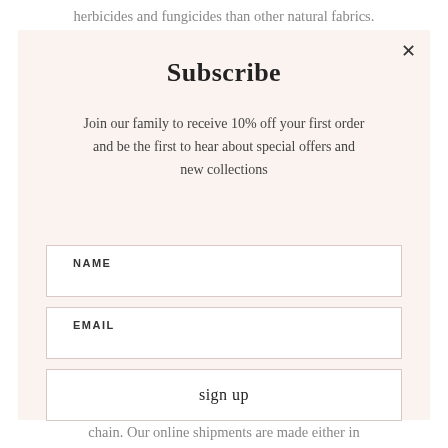herbicides and fungicides than other natural fabrics.
Subscribe
Join our family to receive 10% off your first order and be the first to hear about special offers and new collections
NAME
EMAIL
sign up
chain. Our online shipments are made either in